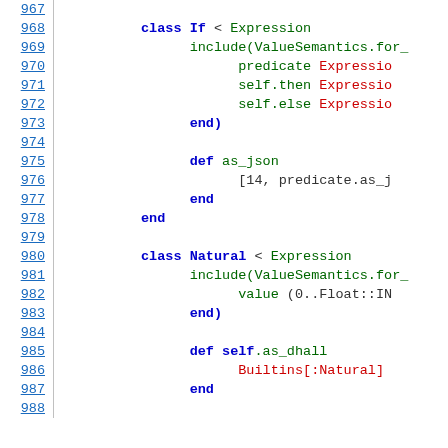Code listing lines 967-988, Ruby source code showing class If and class Natural definitions
967
968   class If < Expression
969       include(ValueSemantics.for_
970           predicate Expressio
971           self.then Expressio
972           self.else Expressio
973       end)
974
975       def as_json
976           [14, predicate.as_j
977       end
978   end
979
980   class Natural < Expression
981       include(ValueSemantics.for_
982           value (0..Float::IN
983       end)
984
985       def self.as_dhall
986           Builtins[:Natural]
987       end
988